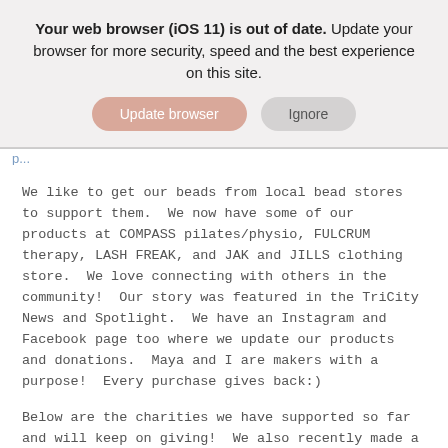[Figure (screenshot): Browser update notification banner with 'Update browser' and 'Ignore' buttons. Text reads: 'Your web browser (iOS 11) is out of date. Update your browser for more security, speed and the best experience on this site.']
We like to get our beads from local bead stores to support them.  We now have some of our products at COMPASS pilates/physio, FULCRUM therapy, LASH FREAK, and JAK and JILLS clothing store.  We love connecting with others in the community!  Our story was featured in the TriCity News and Spotlight.  We have an Instagram and Facebook page too where we update our products and donations.  Maya and I are makers with a purpose!  Every purchase gives back:)
Below are the charities we have supported so far and will keep on giving!  We also recently made a